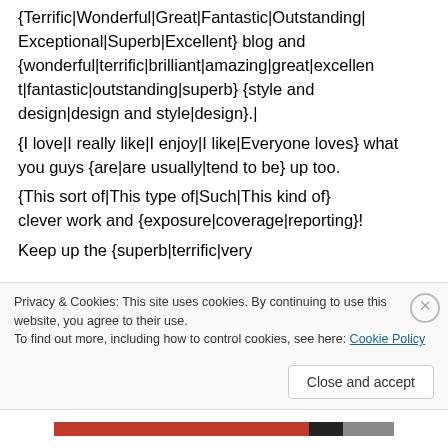{Terrific|Wonderful|Great|Fantastic|Outstanding|Exceptional|Superb|Excellent} blog and {wonderful|terrific|brilliant|amazing|great|excellent|fantastic|outstanding|superb} {style and design|design and style|design}.|
{I love|I really like|I enjoy|I like|Everyone loves} what
you guys {are|are usually|tend to be} up too.

{This sort of|This type of|Such|This kind of} clever work and {exposure|coverage|reporting}!
Keep up the {superb|terrific|very...
Privacy & Cookies: This site uses cookies. By continuing to use this website, you agree to their use.
To find out more, including how to control cookies, see here: Cookie Policy
Close and accept